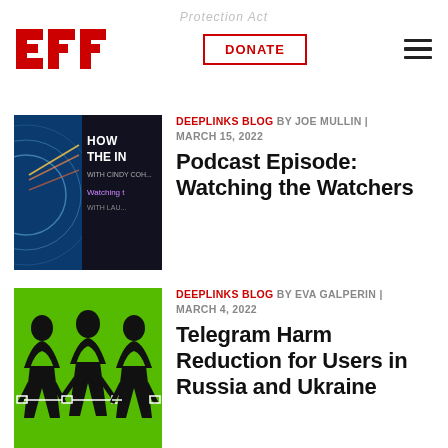EFF | DONATE | menu
Protection Act
[Figure (illustration): Podcast thumbnail showing 'How the Internet Works with Cindy Cohn - Watching the Watchers with Lau...' on dark background with blue graphic]
DEEPLINKS BLOG BY JOE MULLIN | MARCH 15, 2022
Podcast Episode: Watching the Watchers
[Figure (illustration): Green background with black silhouettes of people connected by white lines, representing surveillance or network connections]
DEEPLINKS BLOG BY EVA GALPERIN | MARCH 4, 2022
Telegram Harm Reduction for Users in Russia and Ukraine